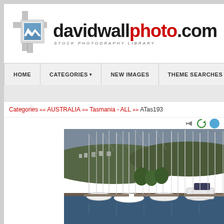[Figure (logo): davidwallphoto.com Stock Photography Library logo with stylized camera icon]
HOME | CATEGORIES | NEW IMAGES | THEME SEARCHES | LIG...
Categories >> AUSTRALIA >> Tasmania - ALL >> ATas193
[Figure (photo): Sailboats and yachts moored at a marina with tall masts visible, hillside suburb in background, Tasmania Australia]